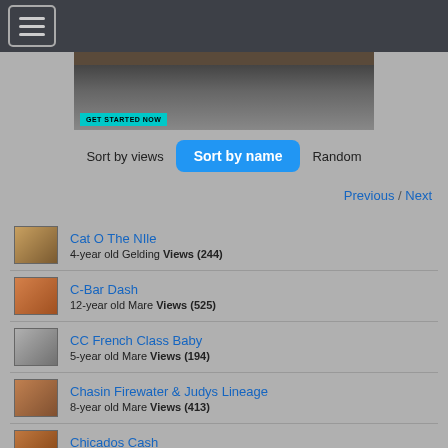Navigation menu (hamburger icon)
[Figure (photo): Banner image showing horses lined up with text GET STARTED NOW]
Sort by views  Sort by name  Random
Previous / Next
Cat O The Nile - 4-year old Gelding Views (244)
C-Bar Dash - 12-year old Mare Views (525)
CC French Class Baby - 5-year old Mare Views (194)
Chasin Firewater & Judys Lineage - 8-year old Mare Views (413)
Chicados Cash - 17-year old Stallion Views (541)